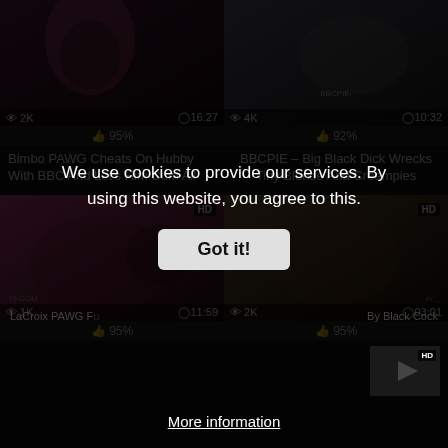[Figure (screenshot): Video thumbnail top-left: pink-haired woman, 2K views, 16:27 duration, 95% likes]
Bimbo PAWG Cheats On Hubby With BBC And Let's Him Cum All
[Figure (screenshot): Video thumbnail top-right: BBCPIE watermark, 4K views, 10:32 duration, 92% likes]
BBCPIE – Big Black Dick Wrecks Tiny Blonde And Creampies
[Figure (screenshot): Video thumbnail bottom-left: HD badge, 1K views, 11:59 duration, 95% likes]
[Figure (screenshot): Video thumbnail bottom-right: HD badge, 2K views, 03:01 duration, 95% likes]
We use cookies to provide our services. By using this website, you agree to this.
Got it!
More information